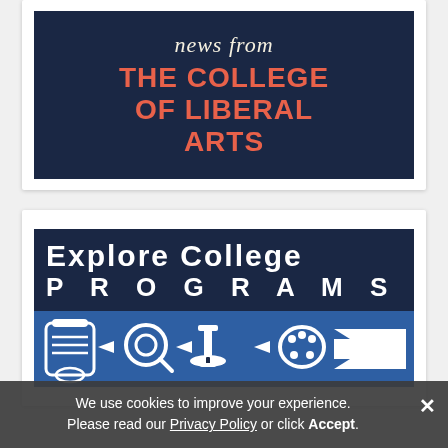[Figure (other): Dark navy blue banner with italic cursive text 'news from' in cream/white and bold red/coral uppercase text 'THE COLLEGE OF LIBERAL ARTS']
[Figure (other): Two-part banner: top dark navy section with bold white text 'Explore College Programs' in spaced lettering; bottom blue section with white icon illustrations (scroll, magnifying glass, microscope, palette, arrow) representing college program categories]
We use cookies to improve your experience. Please read our Privacy Policy or click Accept.